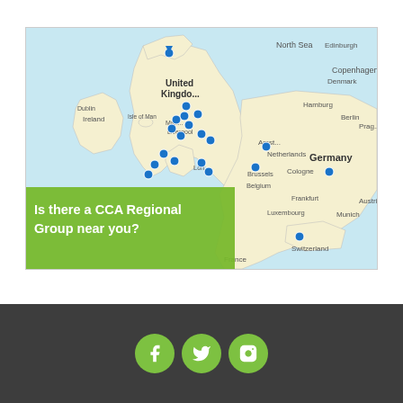[Figure (map): Map showing UK and northwestern Europe (Netherlands, Belgium, Germany, France, Switzerland) with multiple blue location pin markers across the UK and a few in continental Europe. Places labeled include Edinburgh, United Kingdom, Isle of Man, Dublin, Ireland, Manchester, Liverpool, London, North Sea, Copenhagen, Denmark, Hamburg, Berlin, Amsterdam, Netherlands, Brussels, Cologne, Belgium, Frankfurt, Germany, Luxembourg, Munich, Austria, Prague, France, Switzerland. A green banner overlay reads: 'Is there a CCA Regional Group near you?']
[Figure (infographic): Dark grey footer bar with three circular green social media icon buttons: Facebook (f), Twitter (bird), and Instagram (camera)]